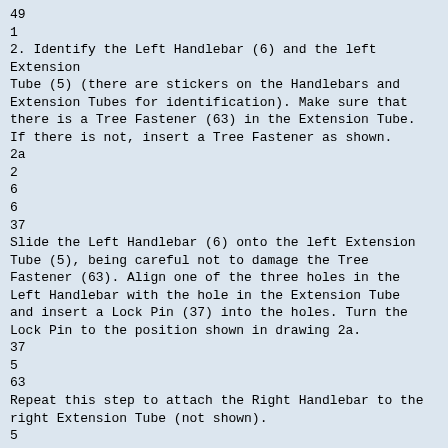49
1
2. Identify the Left Handlebar (6) and the left Extension
Tube (5) (there are stickers on the Handlebars and
Extension Tubes for identification). Make sure that
there is a Tree Fastener (63) in the Extension Tube.
If there is not, insert a Tree Fastener as shown.
2a
2
6
6
37
Slide the Left Handlebar (6) onto the left Extension
Tube (5), being careful not to damage the Tree
Fastener (63). Align one of the three holes in the
Left Handlebar with the hole in the Extension Tube
and insert a Lock Pin (37) into the holes. Turn the
Lock Pin to the position shown in drawing 2a.
37
5
63
Repeat this step to attach the Right Handlebar to the
right Extension Tube (not shown).
5
3. Slide a Handlebar Spacer (46) onto the left axle on
the Upright (2). Make sure that the open side of the
Handlebar Spacer is facing the Upright. Next, make
sure that there are two Handlebar Bushings (40) in
the Left Handlebar (6). Slide the Left Handlebar onto
the left axle on the Upright. Tap a 5/8Ó Axle Cap
(45)